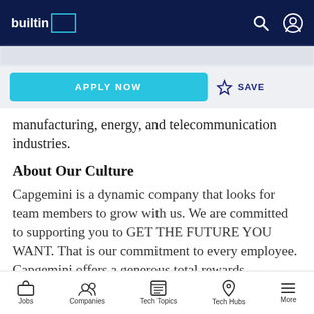builtin
manufacturing, energy, and telecommunication industries.
About Our Culture
Capgemini is a dynamic company that looks for team members to grow with us. We are committed to supporting you to GET THE FUTURE YOU WANT. That is our commitment to every employee. Capgemini offers a generous total rewards
Jobs | Companies | Tech Topics | Tech Hubs | More